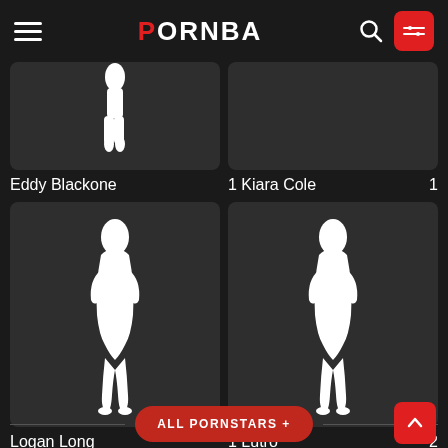PORNBA
[Figure (screenshot): Partial thumbnail of performer with silhouette, top row left card]
[Figure (screenshot): Partial placeholder for Kiara Cole, top row right]
Eddy Blackone
1 Kiara Cole 1
[Figure (photo): Performer silhouette placeholder card - Logan Long, bottom left]
[Figure (photo): Performer silhouette placeholder card - Lutro, bottom right]
Logan Long
1 Lutro 2
ALL PORNSTARS +